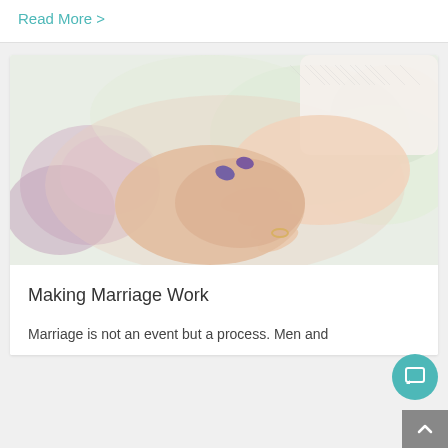Read More >
[Figure (photo): Two people holding hands, one wearing a white lace-cuffed sleeve, with a blurred floral background. A wedding or romantic setting.]
Making Marriage Work
Marriage is not an event but a process. Men and